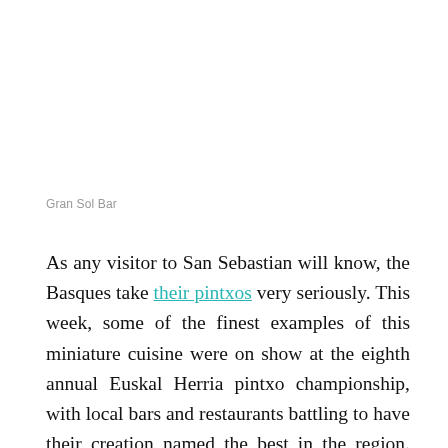Gran Sol Bar
As any visitor to San Sebastian will know, the Basques take their pintxos very seriously. This week, some of the finest examples of this miniature cuisine were on show at the eighth annual Euskal Herria pintxo championship, with local bars and restaurants battling to have their creation named the best in the region. The top prize of €3000 went to Bixente Muñoz and his brother Mikel from the Gran Sol Bar in Hondarribia for their smoked cod on toast with foie, piquillo pepper and soya and balsamic